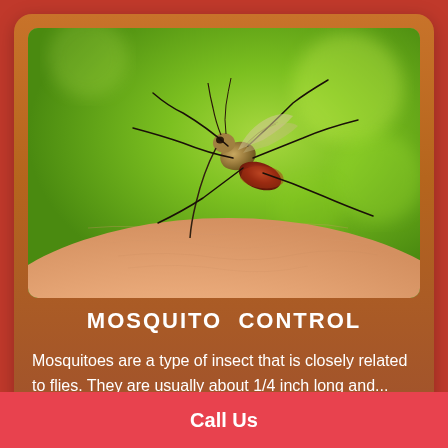[Figure (photo): Close-up macro photograph of a mosquito biting/feeding on human skin, with a blurred green background. The mosquito is shown in profile with long legs and proboscis inserted into pale skin.]
MOSQUITO CONTROL
Mosquitoes are a type of insect that is closely related to flies. They are usually about 1/4 inch long and...
Call Us